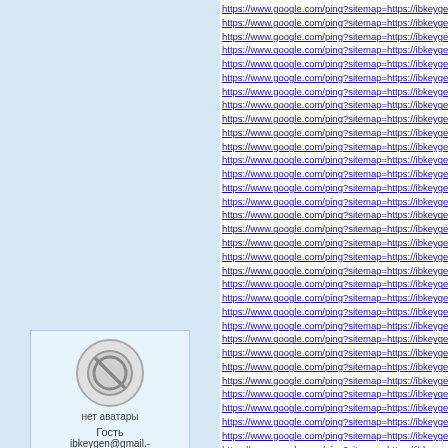[Figure (other): User avatar placeholder with circular no-image icon, label 'нет аватары', user 'Гость', email 'ibkeygen@gmail.-com']
https://www.google.com/ping?sitemap=https://ibkeygen.com/mirillis-a-
https://www.google.com/ping?sitemap=https://ibkeygen.com/manycan-
https://www.google.com/ping?sitemap=https://ibkeygen.com/nitro-pro-
https://www.google.com/ping?sitemap=https://ibkeygen.com/poweriso-
https://www.google.com/ping?sitemap=https://ibkeygen.com/pixologic-
https://www.google.com/ping?sitemap=https://ibkeygen.com/iobit-start
https://www.google.com/ping?sitemap=https://ibkeygen.com/acronis-d-
https://www.google.com/ping?sitemap=https://ibkeygen.com/apowerre-
https://www.google.com/ping?sitemap=https://ibkeygen.com/clo-stand-
https://www.google.com/ping?sitemap=https://ibkeygen.com/comfy-file-
https://www.google.com/ping?sitemap=https://ibkeygen.com/doc-conv-
https://www.google.com/ping?sitemap=https://ibkeygen.com/download-
https://www.google.com/ping?sitemap=https://ibkeygen.com/download-
https://www.google.com/ping?sitemap=https://ibkeygen.com/exif-pilot-
https://www.google.com/ping?sitemap=https://ibkeygen.com/glary-utili-
https://www.google.com/ping?sitemap=https://ibkeygen.com/grow-cas-
https://www.google.com/ping?sitemap=https://ibkeygen.com/macro-ex-
https://www.google.com/ping?sitemap=https://ibkeygen.com/privacy-e-
https://www.google.com/ping?sitemap=https://ibkeygen.com/serenesc-
https://www.google.com/ping?sitemap=https://ibkeygen.com/startisbac-
https://www.google.com/ping?sitemap=https://ibkeygen.com/action-mi-
https://www.google.com/ping?sitemap=https://ibkeygen.com/tenorsha-
https://www.google.com/ping?sitemap=https://ibkeygen.com/wincatalo-
https://www.google.com/ping?sitemap=https://ibkeygen.com/download-
https://www.google.com/ping?sitemap=https://ibkeygen.com/wondersh-
https://www.google.com/ping?sitemap=https://ibkeygen.com/ccleaner-
https://www.google.com/ping?sitemap=https://ibkeygen.com/wonderfo-
https://www.google.com/ping?sitemap=https://ibkeygen.com/ansys-nc-
https://www.google.com/ping?sitemap=https://ibkeygen.com/winzip-pr-
https://www.google.com/ping?sitemap=https://ibkeygen.com/logic-pro-
https://www.google.com/ping?sitemap=https://ibkeygen.com/folx-pro-c-
https://www.google.com/ping?sitemap=https://ibkeygen.com/snapgene-
https://www.google.com/ping?sitemap=https://ibkeygen.com/makemkv-
https://www.google.com/ping?sitemap=https://ibkeygen.com/traktor-p-
https://www.google.com/ping?sitemap=https://ibkeygen.com/ytd-video-
https://www.google.com/ping?sitemap=https://ibkeygen.com/blufftitler-
https://www.google.com/ping?sitemap=https://ibkeygen.com/refx-next-